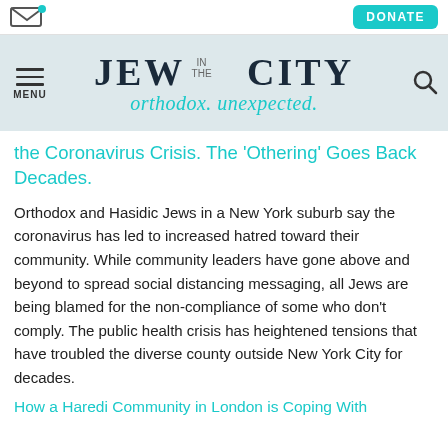Jew in the City — orthodox. unexpected.
the Coronavirus Crisis. The 'Othering' Goes Back Decades.
Orthodox and Hasidic Jews in a New York suburb say the coronavirus has led to increased hatred toward their community. While community leaders have gone above and beyond to spread social distancing messaging, all Jews are being blamed for the non-compliance of some who don't comply. The public health crisis has heightened tensions that have troubled the diverse county outside New York City for decades.
How a Haredi Community in London is Coping With